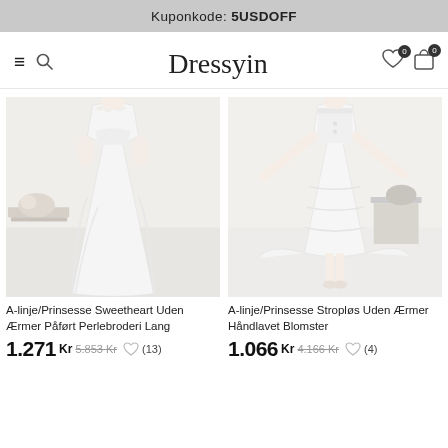Kuponkode: 5USDOFF
[Figure (logo): Dressyn fashion website navigation bar with hamburger menu, search icon, Dressyn logo, heart icon with badge 0, and bag icon with badge 0]
[Figure (photo): White A-line/Princess strapless wedding dress with sweetheart neckline, beaded bodice and pick-up skirt with long train]
A-linje/Prinsesse Sweetheart Uden Ærmer Påført Perlebroderi Lang
1.271 Kr 5.853 Kr ♡ (13)
[Figure (photo): White A-line/Princess strapless tea-length wedding dress with handmade flower details and layered skirt]
A-linje/Prinsesse Stropløs Uden Ærmer Håndlavet Blomster
1.066 Kr 4.166 Kr ♡ (4)